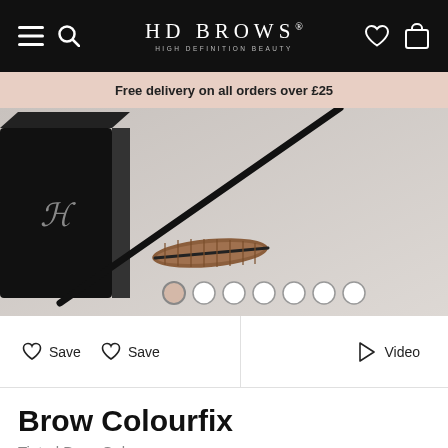HD BROWS HIGH DEFINITION BEAUTY
Free delivery on all orders over £25
[Figure (photo): Product photo of HD Brows Brow Colourfix tinted brow gel — black box container and spoolie brush wand on a light grey/white background. Color selector dots shown at the bottom of the image.]
Save  Save  Video
Brow Colourfix
Tinted Brow Gel